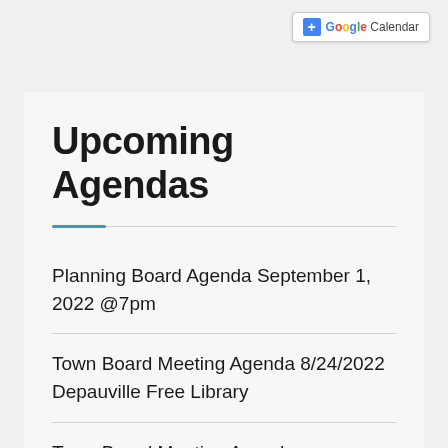[Figure (other): Google Calendar button in top-right area]
Upcoming Agendas
Planning Board Agenda September 1, 2022 @7pm
Town Board Meeting Agenda 8/24/2022 Depauville Free Library
Town Board Meeting Agenda